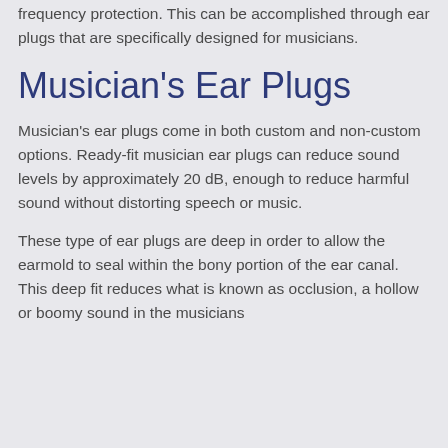frequency protection. This can be accomplished through ear plugs that are specifically designed for musicians.
Musician's Ear Plugs
Musician's ear plugs come in both custom and non-custom options. Ready-fit musician ear plugs can reduce sound levels by approximately 20 dB, enough to reduce harmful sound without distorting speech or music.
These type of ear plugs are deep in order to allow the earmold to seal within the bony portion of the ear canal. This deep fit reduces what is known as occlusion, a hollow or boomy sound in the musicians